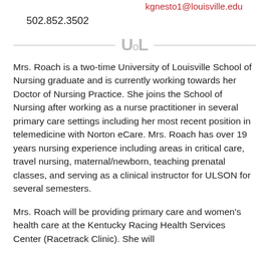kgnesto1@louisville.edu
502.852.3502
[Figure (logo): University of Louisville UofL logo in gray]
Mrs. Roach is a two-time University of Louisville School of Nursing graduate and is currently working towards her Doctor of Nursing Practice. She joins the School of Nursing after working as a nurse practitioner in several primary care settings including her most recent position in telemedicine with Norton eCare. Mrs. Roach has over 19 years nursing experience including areas in critical care, travel nursing, maternal/newborn, teaching prenatal classes, and serving as a clinical instructor for ULSON for several semesters.
Mrs. Roach will be providing primary care and women's health care at the Kentucky Racing Health Services Center (Racetrack Clinic). She will